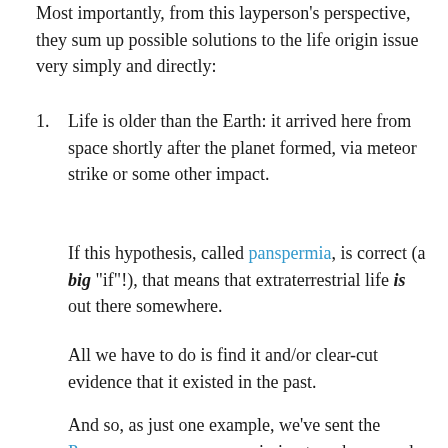Most importantly, from this layperson's perspective, they sum up possible solutions to the life origin issue very simply and directly:
Life is older than the Earth: it arrived here from space shortly after the planet formed, via meteor strike or some other impact.
If this hypothesis, called panspermia, is correct (a big "if"!), that means that extraterrestrial life is out there somewhere.
All we have to do is find it and/or clear-cut evidence that it existed in the past.
And so, as just one example, we've sent the Perseverance rover on a mission to poke around what was once a Martian river delta, billions of